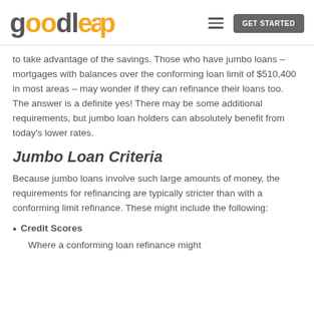goodleap | GET STARTED
to take advantage of the savings. Those who have jumbo loans – mortgages with balances over the conforming loan limit of $510,400 in most areas – may wonder if they can refinance their loans too. The answer is a definite yes! There may be some additional requirements, but jumbo loan holders can absolutely benefit from today's lower rates.
Jumbo Loan Criteria
Because jumbo loans involve such large amounts of money, the requirements for refinancing are typically stricter than with a conforming limit refinance. These might include the following:
Credit Scores
Where a conforming loan refinance might